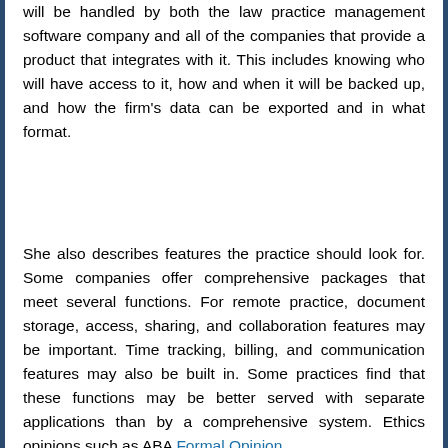will be handled by both the law practice management software company and all of the companies that provide a product that integrates with it. This includes knowing who will have access to it, how and when it will be backed up, and how the firm's data can be exported and in what format.
She also describes features the practice should look for. Some companies offer comprehensive packages that meet several functions. For remote practice, document storage, access, sharing, and collaboration features may be important. Time tracking, billing, and communication features may also be built in. Some practices find that these functions may be better served with separate applications than by a comprehensive system. Ethics opinions such as ABA Formal Opinion 477...